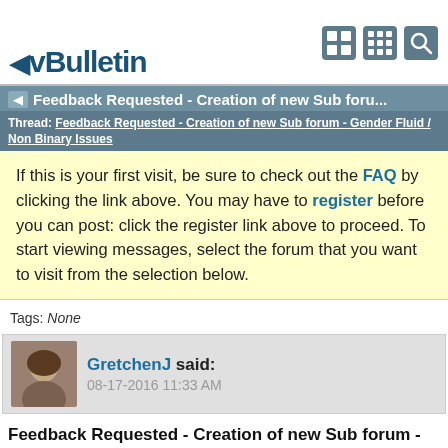vBulletin
Feedback Requested - Creation of new Sub foru...
Thread: Feedback Requested - Creation of new Sub forum - Gender Fluid / Non Binary Issues
If this is your first visit, be sure to check out the FAQ by clicking the link above. You may have to register before you can post: click the register link above to proceed. To start viewing messages, select the forum that you want to visit from the selection below.
Tags: None
GretchenJ said:
08-17-2016 11:33 AM
Feedback Requested - Creation of new Sub forum - Gender Fluid / Non Binary Issues
Hi All,